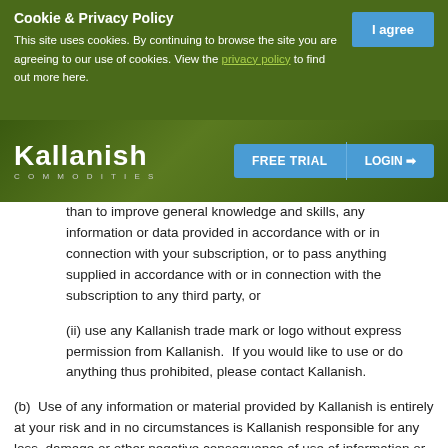Cookie & Privacy Policy
This site uses cookies. By continuing to browse the site you are agreeing to our use of cookies. View the privacy policy to find out more here.
[Figure (logo): Kallanish Commodities logo with white text on dark green background, with FREE TRIAL and LOGIN navigation buttons]
than to improve general knowledge and skills, any information or data provided in accordance with or in connection with your subscription, or to pass anything supplied in accordance with or in connection with the subscription to any third party, or
(ii) use any Kallanish trade mark or logo without express permission from Kallanish.  If you would like to use or do anything thus prohibited, please contact Kallanish.
(b)  Use of any information or material provided by Kallanish is entirely at your risk and in no circumstances is Kallanish responsible for any loss, damage or other negative consequence of use of information or material by